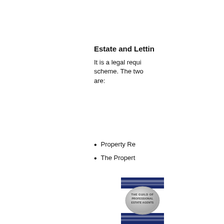Estate and Lettin
It is a legal requi scheme. The two are:
Property Re
The Propert
[Figure (logo): The Guild of Professional Estate Agents logo — dark navy blue rectangular banner with horizontal stripes at top and bottom, and a silver oval badge in the center reading 'THE GUILD OF PROFESSIONAL ESTATE AGENTS']